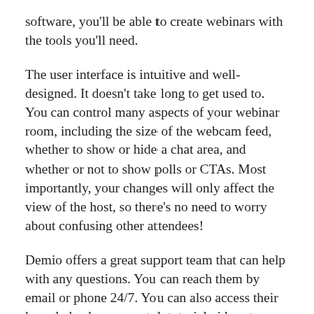software, you'll be able to create webinars with the tools you'll need.
The user interface is intuitive and well-designed. It doesn't take long to get used to. You can control many aspects of your webinar room, including the size of the webcam feed, whether to show or hide a chat area, and whether or not to show polls or CTAs. Most importantly, your changes will only affect the view of the host, so there's no need to worry about confusing other attendees!
Demio offers a great support team that can help with any questions. You can reach them by email or phone 24/7. You can also access their knowledge base or watch tutorial videos to learn more about the program. You can also access